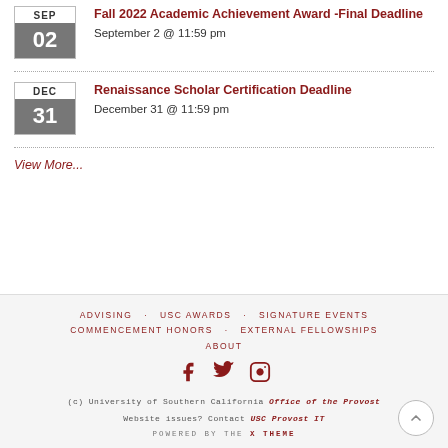Fall 2022 Academic Achievement Award -Final Deadline
September 2 @ 11:59 pm
Renaissance Scholar Certification Deadline
December 31 @ 11:59 pm
View More...
ADVISING   USC AWARDS   SIGNATURE EVENTS   COMMENCEMENT HONORS   EXTERNAL FELLOWSHIPS   ABOUT
(c) University of Southern California Office of the Provost
Website issues? Contact USC Provost IT
POWERED BY THE X THEME